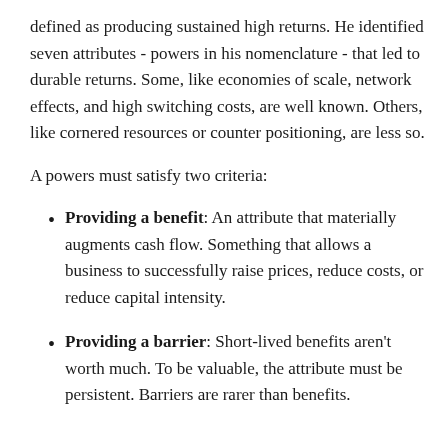defined as producing sustained high returns. He identified seven attributes - powers in his nomenclature - that led to durable returns. Some, like economies of scale, network effects, and high switching costs, are well known. Others, like cornered resources or counter positioning, are less so.
A powers must satisfy two criteria:
Providing a benefit: An attribute that materially augments cash flow. Something that allows a business to successfully raise prices, reduce costs, or reduce capital intensity.
Providing a barrier: Short-lived benefits aren't worth much. To be valuable, the attribute must be persistent. Barriers are rarer than benefits.